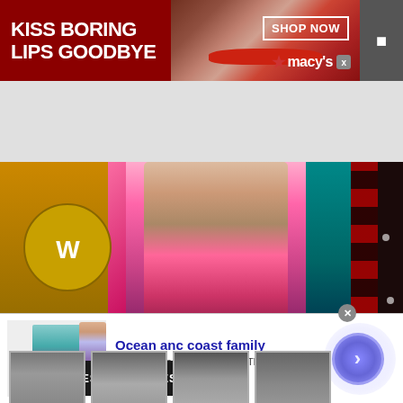[Figure (screenshot): Macy's advertisement banner with dark red background, text 'KISS BORING LIPS GOODBYE', model with red lips, SHOP NOW button, and Macy's logo]
[Figure (screenshot): WWE Elites Affiliates website section with colorful background showing wrestlers/performers, Elites Affiliates badge, and four black-and-white portrait thumbnails at the bottom]
[Figure (screenshot): Belk advertisement: Ocean anc coast family, 60% Off Ocean and Coast for The Family, www.belk.com, with product image and navigation arrow button]